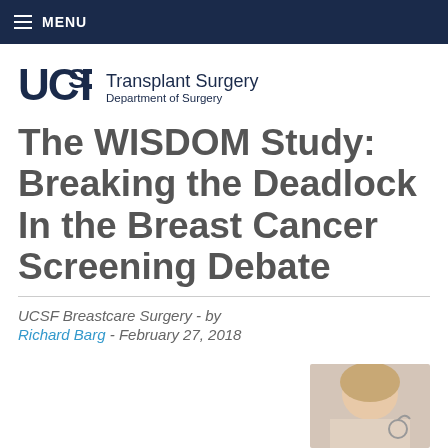≡ MENU
[Figure (logo): UCSF Transplant Surgery Department of Surgery logo]
The WISDOM Study: Breaking the Deadlock In the Breast Cancer Screening Debate
UCSF Breastcare Surgery - by
Richard Barg - February 27, 2018
[Figure (photo): Partial photo of a person, bottom right corner]